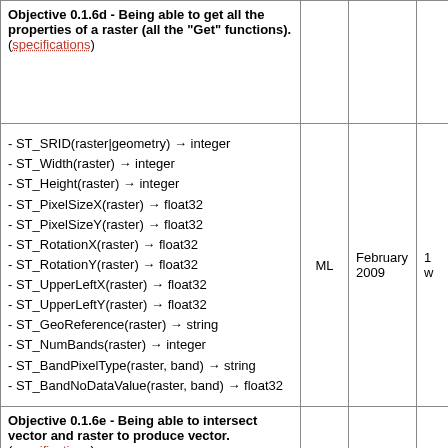| Objective |  | Date |  |
| --- | --- | --- | --- |
| Objective 0.1.6d - Being able to get all the properties of a raster (all the "Get" functions). (specifications) |  |  |  |
| - ST_SRID(raster|geometry) → integer
- ST_Width(raster) → integer
- ST_Height(raster) → integer
- ST_PixelSizeX(raster) → float32
- ST_PixelSizeY(raster) → float32
- ST_RotationX(raster) → float32
- ST_RotationY(raster) → float32
- ST_UpperLeftX(raster) → float32
- ST_UpperLeftY(raster) → float32
- ST_GeoReference(raster) → string
- ST_NumBands(raster) → integer
- ST_BandPixelType(raster, band) → string
- ST_BandNoDataValue(raster, band) → float32 | ML | February 2009 | 1 w |
| Objective 0.1.6e - Being able to intersect vector and raster to produce vector. (specifications) |  |  |  |